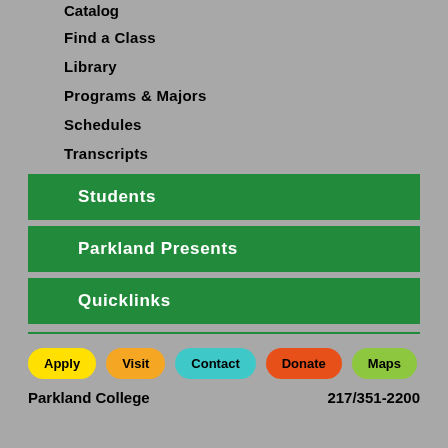Catalog
Find a Class
Library
Programs & Majors
Schedules
Transcripts
Students
Parkland Presents
Quicklinks
Apply  Visit  Contact  Donate  Maps
Parkland College    217/351-2200